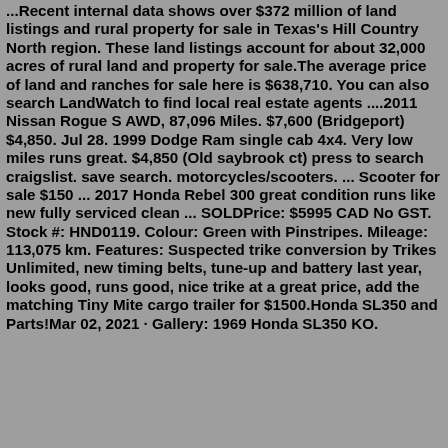...Recent internal data shows over $372 million of land listings and rural property for sale in Texas's Hill Country North region. These land listings account for about 32,000 acres of rural land and property for sale.The average price of land and ranches for sale here is $638,710. You can also search LandWatch to find local real estate agents ....2011 Nissan Rogue S AWD, 87,096 Miles. $7,600 (Bridgeport) $4,850. Jul 28. 1999 Dodge Ram single cab 4x4. Very low miles runs great. $4,850 (Old saybrook ct) press to search craigslist. save search. motorcycles/scooters. ... Scooter for sale $150 ... 2017 Honda Rebel 300 great condition runs like new fully serviced clean ... SOLDPrice: $5995 CAD No GST. Stock #: HND0119. Colour: Green with Pinstripes. Mileage: 113,075 km. Features: Suspected trike conversion by Trikes Unlimited, new timing belts, tune-up and battery last year, looks good, runs good, nice trike at a great price, add the matching Tiny Mite cargo trailer for $1500.Honda SL350 and Parts!Mar 02, 2021 · Gallery: 1969 Honda SL350 KO.